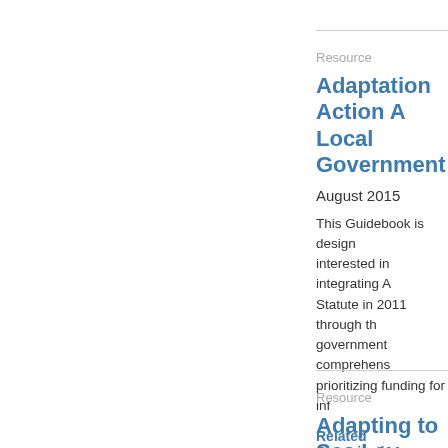Resource
Adaptation Action A... Local Government
August 2015
This Guidebook is design... interested in integrating A... Statute in 2011 through th... government comprehens... prioritizing funding for inf...
Related Organizations
Resource Category: Pla...
SEE RESOURCE
Resource
Adapting to Sea Lev...